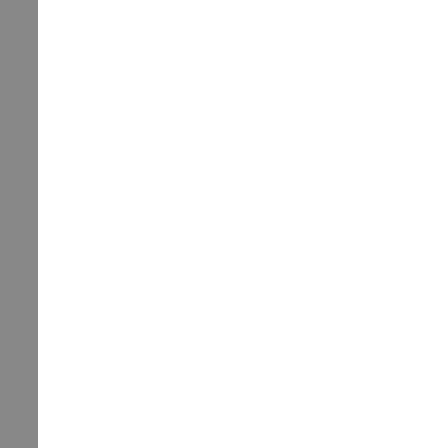276 Armstrong World [truncated]
http://www.armstron...
Manufacturer and ...
Market : Oversea ...
277 LAUFEN Bath...
www.laufen.com/ex...
Laufen Ceramic T... Laufen tile.
Market : Oversea;
278 Porcher Corpor...
http://www.porcher-...
For more than 100... with European sens... accessories are also...
Market : Oversea ...
279 Toto Ltd
http://www.toto.co.j...
TOTO LTD., estab... Company's product... diversified into adva...